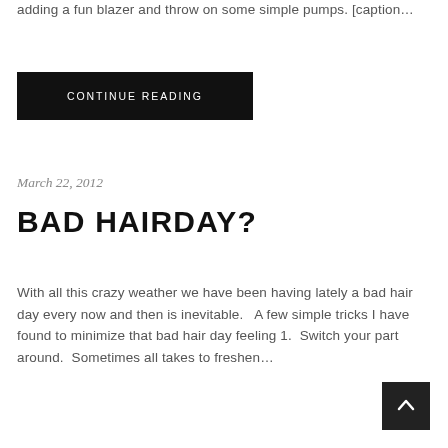adding a fun blazer and throw on some simple pumps. [caption...
CONTINUE READING
March 22, 2012
BAD HAIRDAY?
With all this crazy weather we have been having lately a bad hair day every now and then is inevitable.   A few simple tricks I have found to minimize that bad hair day feeling 1.  Switch your part around.  Sometimes all takes to freshen...